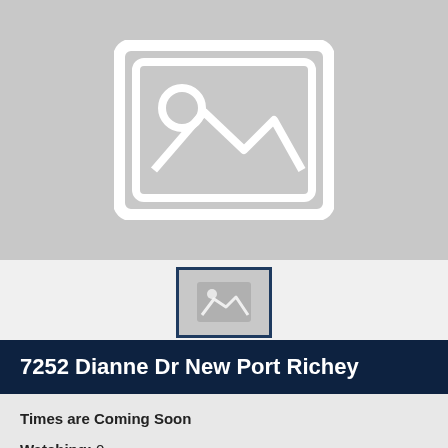[Figure (photo): Large gray image placeholder with white mountain/landscape icon and rounded rectangle border, indicating no photo available]
[Figure (photo): Small thumbnail gray image placeholder with white landscape icon, outlined with dark blue border]
7252 Dianne Dr New Port Richey
Times are Coming Soon
Watching: 0